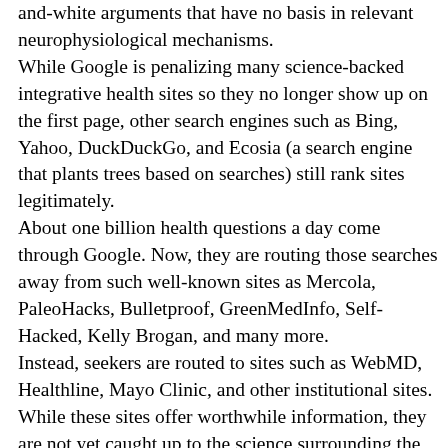and-white arguments that have no basis in relevant neurophysiological mechanisms. While Google is penalizing many science-backed integrative health sites so they no longer show up on the first page, other search engines such as Bing, Yahoo, DuckDuckGo, and Ecosia (a search engine that plants trees based on searches) still rank sites legitimately. About one billion health questions a day come through Google. Now, they are routing those searches away from such well-known sites as Mercola, PaleoHacks, Bulletproof, GreenMedInfo, Self-Hacked, Kelly Brogan, and many more. Instead, seekers are routed to sites such as WebMD, Healthline, Mayo Clinic, and other institutional sites. While these sites offer worthwhile information, they are not yet caught up to the science surrounding the many chronic illnesses that have become so common today. They even provide false information in some instances,